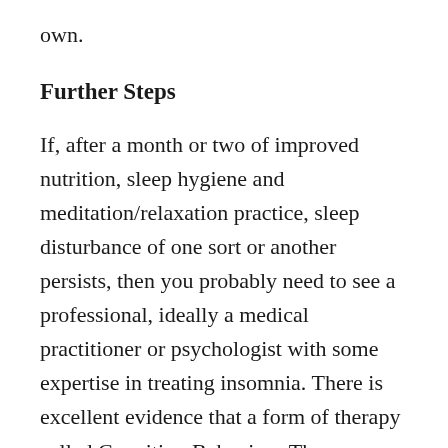own.
Further Steps
If, after a month or two of improved nutrition, sleep hygiene and meditation/relaxation practice, sleep disturbance of one sort or another persists, then you probably need to see a professional, ideally a medical practitioner or psychologist with some expertise in treating insomnia. There is excellent evidence that a form of therapy called Cognitive-Behaviour Therapy – Insomnia (CBT-I) is generally quickly effective. In addition to sleep hygiene and meditation/relaxation, CBT-I focusses on those core beliefs and their emotional concomitants that interfere with sleep and will assist the client to restructure these beliefs. If